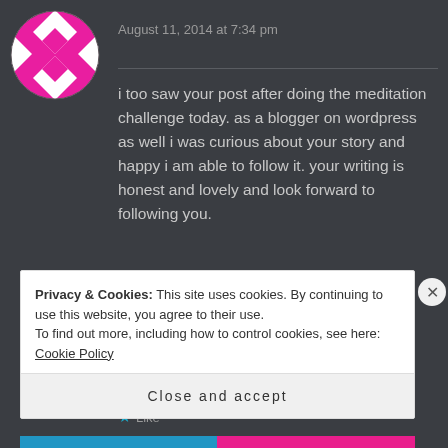[Figure (illustration): Pink and white diamond/checker pattern avatar icon in a circular frame]
August 11, 2014 at 7:34 pm
i too saw your post after doing the meditation challenge today. as a blogger on wordpress as well i was curious about your story and happy i am able to follow it. your writing is honest and lovely and look forward to following you.
★ Like
Privacy & Cookies: This site uses cookies. By continuing to use this website, you agree to their use.
To find out more, including how to control cookies, see here: Cookie Policy
Close and accept